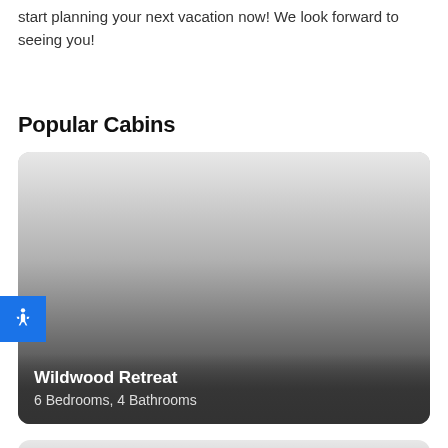start planning your next vacation now! We look forward to seeing you!
Popular Cabins
[Figure (photo): Cabin card image for Wildwood Retreat with gradient overlay showing cabin name and bedroom/bathroom details]
[Figure (photo): Partial cabin card image at bottom of page, gradient background, no text visible]